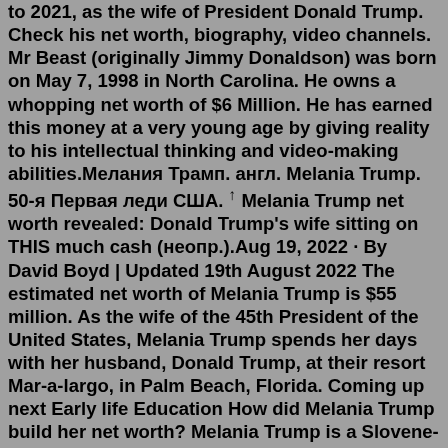to 2021, as the wife of President Donald Trump. Check his net worth, biography, video channels. Mr Beast (originally Jimmy Donaldson) was born on May 7, 1998 in North Carolina. He owns a whopping net worth of $6 Million. He has earned this money at a very young age by giving reality to his intellectual thinking and video-making abilities.Мелания Трамп. англ. Melania Trump. 50-я Первая леди США. ↑ Melania Trump net worth revealed: Donald Trump's wife sitting on THIS much cash (неопр.).Aug 19, 2022 · By David Boyd | Updated 19th August 2022 The estimated net worth of Melania Trump is $55 million. As the wife of the 45th President of the United States, Melania Trump spends her days with her husband, Donald Trump, at their resort Mar-a-largo, in Palm Beach, Florida. Coming up next Early life Education How did Melania Trump build her net worth? Melania Trump is a Slovene-American former model and businesswoman who served as the first lady of the United States from 2017 to 2021, as the wife of President Donald Trump. Melania Trump is a...